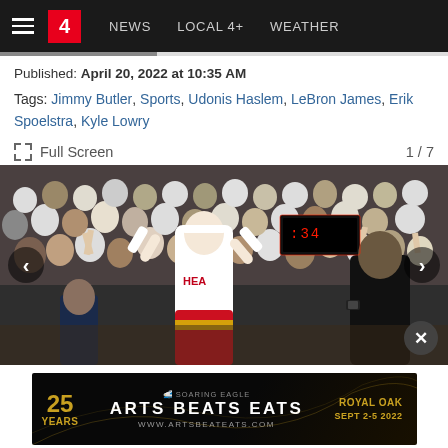NEWS | LOCAL 4+ | WEATHER
Published: April 20, 2022 at 10:35 AM
Tags: Jimmy Butler, Sports, Udonis Haslem, LeBron James, Erik Spoelstra, Kyle Lowry
Full Screen  1 / 7
[Figure (photo): Basketball player in Miami Heat jersey with arms raised, celebrating in front of a large crowd. A coach in dark clothing is visible on the right side. An arena scoreboard glows red in the background.]
[Figure (other): Advertisement banner for Arts Beats Eats 25 Years, Soaring Eagle, Royal Oak, Sept 2-5 2022, www.artsbeateats.com]